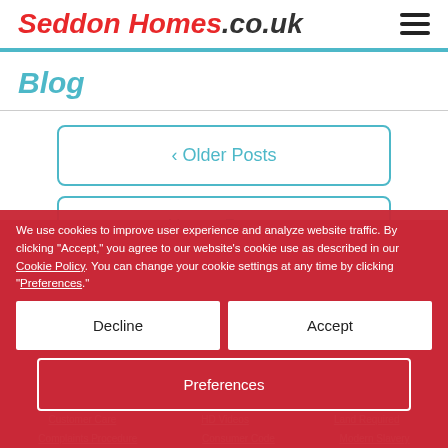Seddon Homes.co.uk
Blog
‹ Older Posts
Newer Posts ›
We use cookies to improve user experience and analyze website traffic. By clicking "Accept," you agree to our website's cookie use as described in our Cookie Policy. You can change your cookie settings at any time by clicking "Preferences."
Decline
Accept
Preferences
Customer Care   HD Videos   Land Required   Complaints Procedure   Consumer Code   Modern Slavery